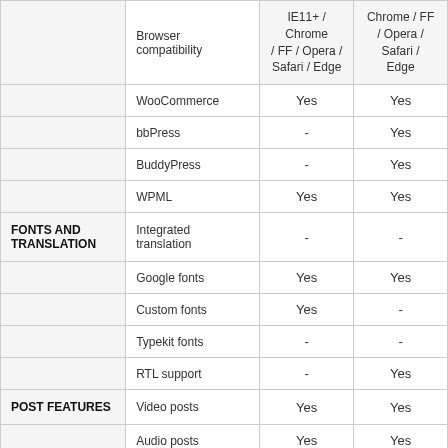|  | Feature | IE11+ / Chrome / FF / Opera / Safari / Edge | Chrome / FF / Opera / Safari / Edge |
| --- | --- | --- | --- |
|  | Browser compatibility | IE11+ / Chrome / FF / Opera / Safari / Edge | Chrome / FF / Opera / Safari / Edge |
|  | WooCommerce | Yes | Yes |
|  | bbPress | - | Yes |
|  | BuddyPress | - | Yes |
|  | WPML | Yes | Yes |
| FONTS AND TRANSLATION | Integrated translation | - | - |
|  | Google fonts | Yes | Yes |
|  | Custom fonts | Yes | - |
|  | Typekit fonts | - | - |
|  | RTL support | - | Yes |
| POST FEATURES | Video posts | Yes | Yes |
|  | Audio posts | Yes | Yes |